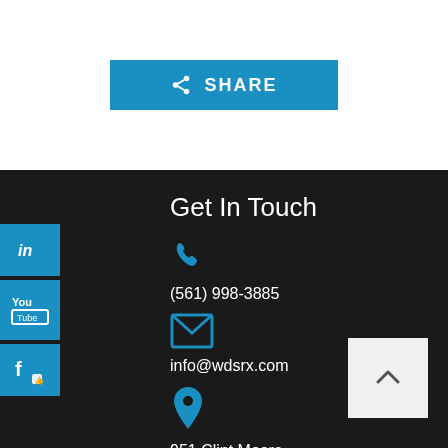[Figure (other): Blue SHARE button with share icon]
Get In Touch
[Figure (other): Blue phone icon]
(561) 998-3885
[Figure (other): Blue envelope/email icon]
info@wdsrx.com
[Figure (other): Blue map pin/location icon]
951 Clint Moore Road
Suite A
[Figure (other): LinkedIn, YouTube, and Facebook social media icon buttons on left side]
[Figure (other): Scroll to top button with caret]